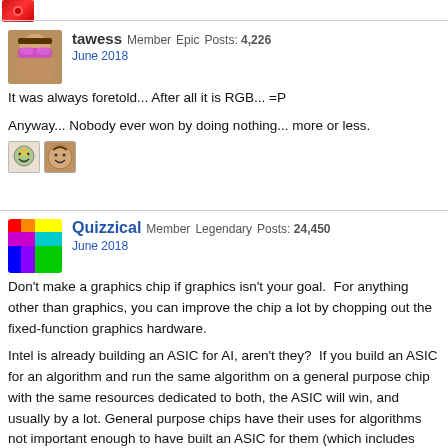tawess Member Epic Posts: 4,226
June 2018
It was always foretold... After all it is RGB... =P

Anyway... Nobody ever won by doing nothing... more or less.
Quizzical Member Legendary Posts: 24,450
June 2018
Don't make a graphics chip if graphics isn't your goal. For anything other than graphics, you can improve the chip a lot by chopping out the fixed-function graphics hardware.

Intel is already building an ASIC for AI, aren't they? If you build an ASIC for an algorithm and run the same algorithm on a general purpose chip with the same resources dedicated to both, the ASIC will win, and usually by a lot. General purpose chips have their uses for algorithms not important enough to have built an ASIC for them (which includes nearly everything), but once